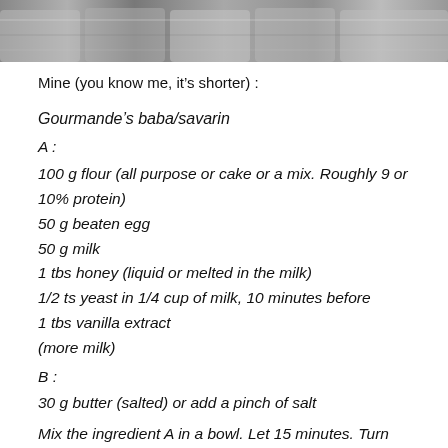[Figure (photo): Photo of metal baking molds/tins at the top of the page]
Mine (you know me, it's shorter) :
Gourmande's baba/savarin
A :
100 g flour (all purpose or cake or a mix. Roughly 9 or 10% protein)
50 g beaten egg
50 g milk
1 tbs honey (liquid or melted in the milk)
1/2 ts yeast in 1/4 cup of milk, 10 minutes before
1 tbs vanilla extract
(more milk)
B :
30 g butter (salted) or add a pinch of salt

Mix the ingredient A in a bowl. Let 15 minutes. Turn slowly